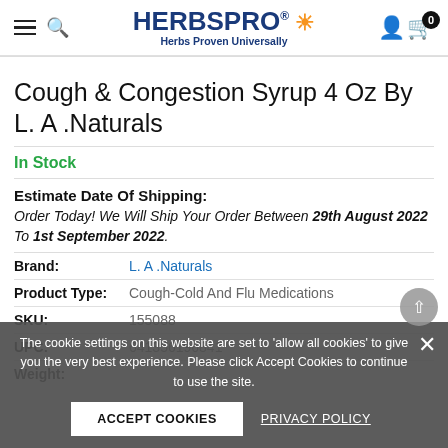HERBSPRO® Herbs Proven Universally
Cough & Congestion Syrup 4 Oz By L. A .Naturals
In Stock
Estimate Date Of Shipping:
Order Today! We Will Ship Your Order Between 29th August 2022 To 1st September 2022.
Brand: L. A .Naturals
Product Type: Cough-Cold And Flu Medications
SKU: 155088
UPC: 641356196841
Weight:
The cookie settings on this website are set to 'allow all cookies' to give you the very best experience. Please click Accept Cookies to continue to use the site.